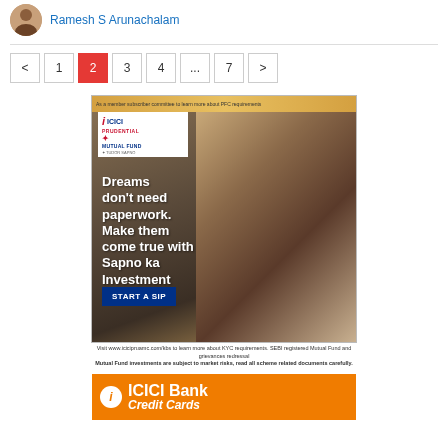Ramesh S Arunachalam
< 1 2 3 4 ... 7 >
[Figure (photo): ICICI Prudential Mutual Fund advertisement showing a couple with a tablet. Text reads: Dreams don't need paperwork. Make them come true with Sapno ka Investment Plan. START A SIP]
Visit www.icicipruamc.com/kbs to learn more about KYC requirements. SEBI registered Mutual Fund and grievances redressal. Mutual Fund investments are subject to market risks, read all scheme related documents carefully.
[Figure (photo): ICICI Bank Credit Cards advertisement with orange background showing ICICI Bank logo]